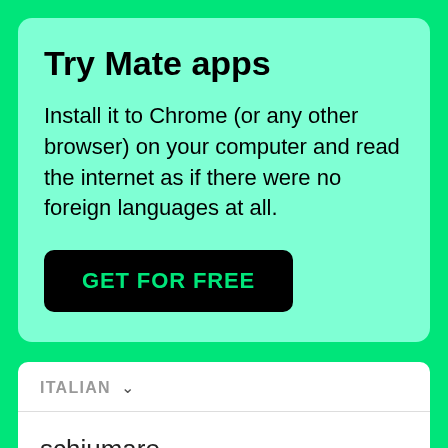Try Mate apps
Install it to Chrome (or any other browser) on your computer and read the internet as if there were no foreign languages at all.
GET FOR FREE
ITALIAN
schiumare